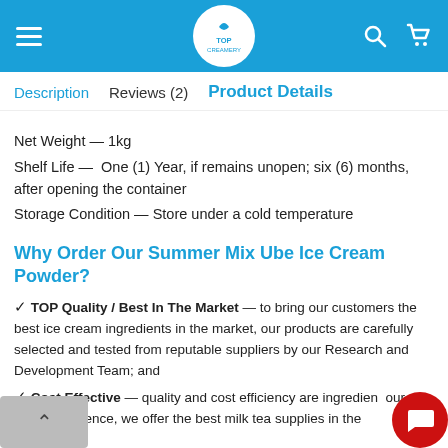[Figure (logo): Top Creamery website header with blue background, hamburger menu, centered Top Creamery logo in white circle, search icon and cart icon]
Description | Reviews (2) | Product Details
Net Weight — 1kg
Shelf Life — One (1) Year, if remains unopen; six (6) months, after opening the container
Storage Condition — Store under a cold temperature
Why Order Our Summer Mix Ube Ice Cream Powder?
✓ TOP Quality / Best In The Market — to bring our customers the best ice cream ingredients in the market, our products are carefully selected and tested from reputable suppliers by our Research and Development Team; and
✓ Cost Effective — quality and cost efficiency are ingredients of our business. Hence, we offer the best milk tea supplies in the